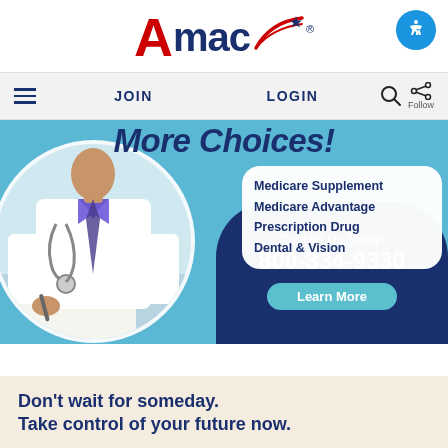[Figure (logo): AMAC organization logo with red A and navy blue mac text with swoosh flag design]
JOIN   LOGIN   Follow
[Figure (infographic): Medicare insurance advertisement banner showing a doctor, with text: More Choices! Medicare Supplement, Medicare Advantage, Prescription Drug, Dental & Vision. Contact Us Today! 800-334-9330. Learn More button.]
Don't wait for someday.
Take control of your future now.